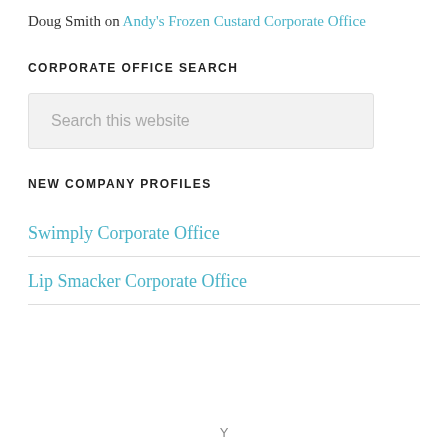Doug Smith on Andy's Frozen Custard Corporate Office
CORPORATE OFFICE SEARCH
Search this website
NEW COMPANY PROFILES
Swimply Corporate Office
Lip Smacker Corporate Office
Y